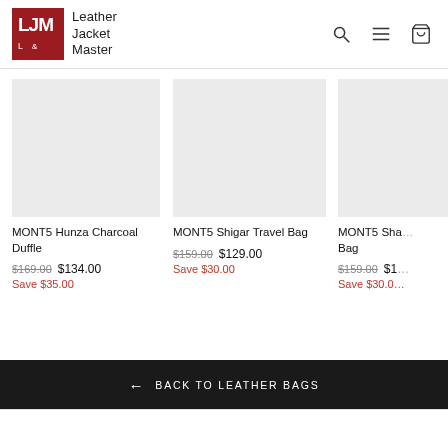[Figure (logo): Leather Jacket Master logo — red square with LJM initials in white, alongside text 'Leather Jacket Master']
MONT5 Hunza Charcoal Duffle
$169.00  $134.00
Save $35.00
MONT5 Shigar Travel Bag
$159.00  $129.00
Save $30.00
MONT5 Sha... Bag
$159.00  $1...
Save $30.0...
← BACK TO LEATHER BAGS